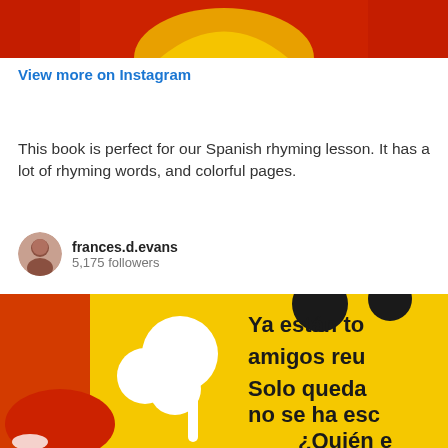[Figure (photo): Top portion of a colorful children's book cover with red, orange and yellow colors]
View more on Instagram
This book is perfect for our Spanish rhyming lesson. It has a lot of rhyming words, and colorful pages.
frances.d.evans
5,175 followers
[Figure (photo): Children's book page showing a cartoon character on a yellow background with Spanish text: Ya están to... amigos reu... Solo queda... no se ha esc... ¿Quién e...]